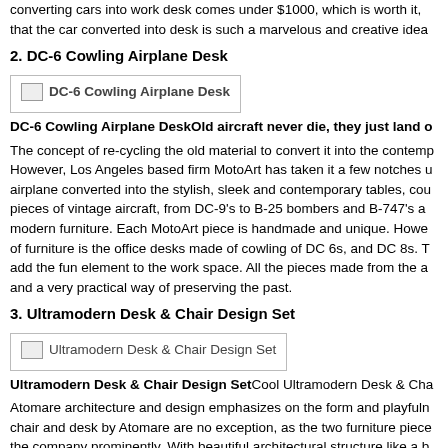converting cars into work desk comes under $1000, which is worth it, as that the car converted into desk is such a marvelous and creative idea
2. DC-6 Cowling Airplane Desk
[Figure (photo): Image placeholder for DC-6 Cowling Airplane Desk]
DC-6 Cowling Airplane DeskOld aircraft never die, they just land o...
The concept of re-cycling the old material to convert it into the contemp... However, Los Angeles based firm MotoArt has taken it a few notches u... airplane converted into the stylish, sleek and contemporary tables, cou... pieces of vintage aircraft, from DC-9's to B-25 bombers and B-747's a... modern furniture. Each MotoArt piece is handmade and unique. Howev... of furniture is the office desks made of cowling of DC 6s, and DC 8s. T... add the fun element to the work space. All the pieces made from the a... and a very practical way of preserving the past.
3. Ultramodern Desk & Chair Design Set
[Figure (photo): Image placeholder for Ultramodern Desk & Chair Design Set]
Ultramodern Desk & Chair Design SetCool Ultramodern Desk & Cha...
Atomare architecture and design emphasizes on the form and playfuln... chair and desk by Atomare are no exception, as the two furniture piece... the company prominently. With beautiful architectural structure like a b... emphasize on the utility of design. Made from one single bend surface... light and open appeal, so does the chair to create a lighter ambience i...